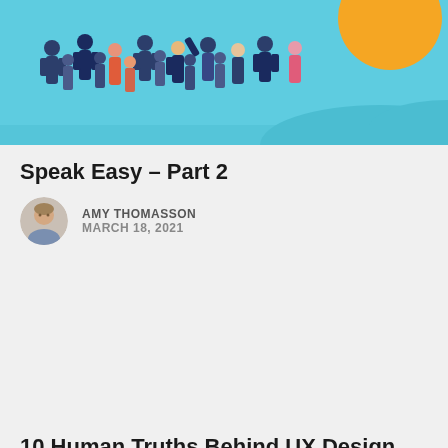[Figure (illustration): Illustration of a crowd of business people in dark suits on a light blue background with a large orange circle in the top right corner and wave shapes at the bottom.]
Speak Easy – Part 2
AMY THOMASSON
MARCH 18, 2021
[Figure (photo): Small circular avatar photo of Amy Thomasson.]
10 Human Truths Behind UX Design
DANIEL HAWLEY